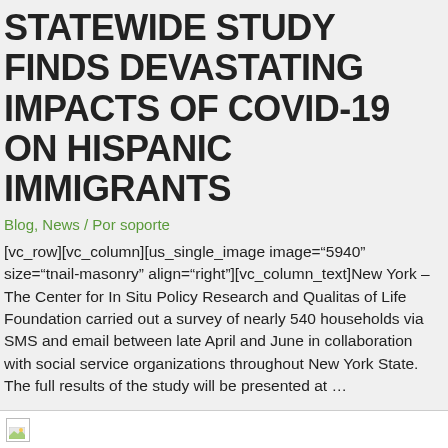STATEWIDE STUDY FINDS DEVASTATING IMPACTS OF COVID-19 ON HISPANIC IMMIGRANTS
Blog, News / Por soporte
[vc_row][vc_column][us_single_image image="5940" size="tnail-masonry" align="right"][vc_column_text]New York – The Center for In Situ Policy Research and Qualitas of Life Foundation carried out a survey of nearly 540 households via SMS and email between late April and June in collaboration with social service organizations throughout New York State. The full results of the study will be presented at …
Leer más »
[Figure (other): Broken image placeholder thumbnail at bottom of page]